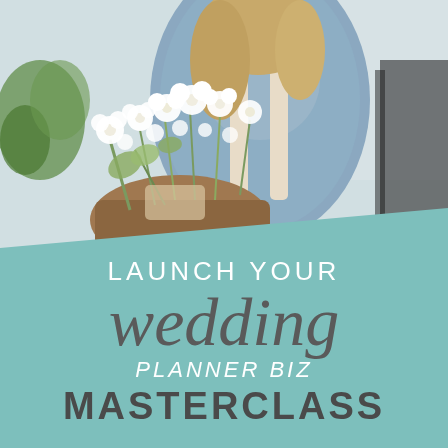[Figure (photo): Woman in blue denim shirt holding a basket of white flowers, photographed from the shoulders up, bright and airy background]
LAUNCH YOUR wedding PLANNER BIZ MASTERCLASS